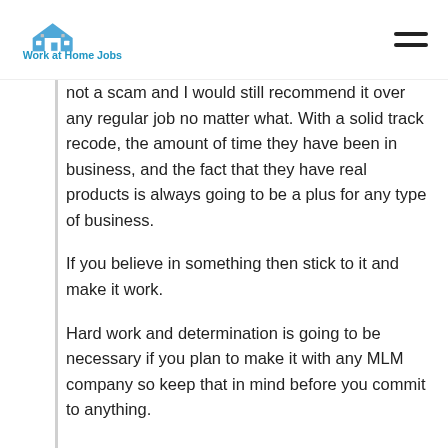Work at Home Jobs
not a scam and I would still recommend it over any regular job no matter what. With a solid track recode, the amount of time they have been in business, and the fact that they have real products is always going to be a plus for any type of business.
If you believe in something then stick to it and make it work.
Hard work and determination is going to be necessary if you plan to make it with any MLM company so keep that in mind before you commit to anything.